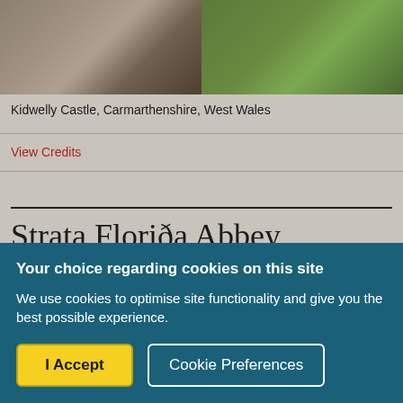[Figure (photo): Two photos side by side: left shows stone castle ruins (Kidwelly Castle), right shows green grass and stone ruins from above]
Kidwelly Castle, Carmarthenshire, West Wales
View Credits
Strata Florida Abbey, Ceredigion
Your choice regarding cookies on this site
We use cookies to optimise site functionality and give you the best possible experience.
I Accept
Cookie Preferences